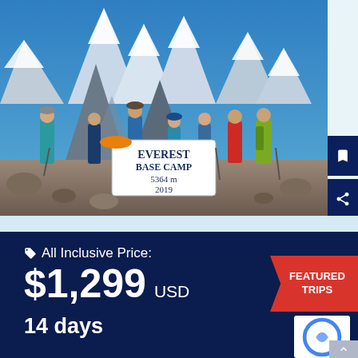[Figure (photo): Group of hikers/trekkers standing at Everest Base Camp 5364m, posing with a banner reading 'EVEREST BASE CAMP 5364 m 2019', with snow-covered Himalayan peaks in the background. Taken in 2019.]
All Inclusive Price: $1,299 USD
14 days
FEATURED TRIPS